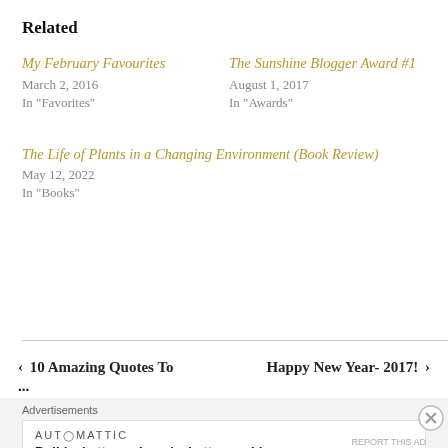Related
My February Favourites
March 2, 2016
In "Favorites"
The Sunshine Blogger Award #1
August 1, 2017
In "Awards"
The Life of Plants in a Changing Environment (Book Review)
May 12, 2022
In "Books"
‹ 10 Amazing Quotes To ...
Happy New Year- 2017! ›
Advertisements
AUTOMATTIC
Build a better web and a better world.